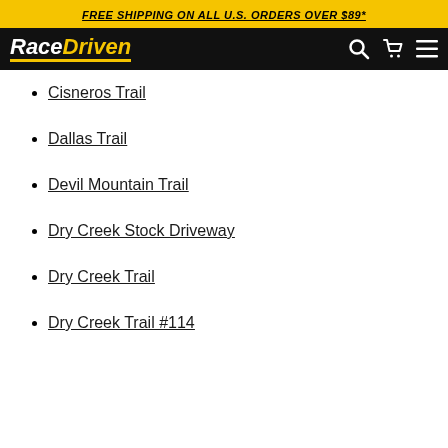FREE SHIPPING ON ALL U.S. ORDERS OVER $89*
[Figure (logo): RaceDriven logo with search, cart, and menu icons on black navbar]
Cisneros Trail
Dallas Trail
Devil Mountain Trail
Dry Creek Stock Driveway
Dry Creek Trail
Dry Creek Trail #114